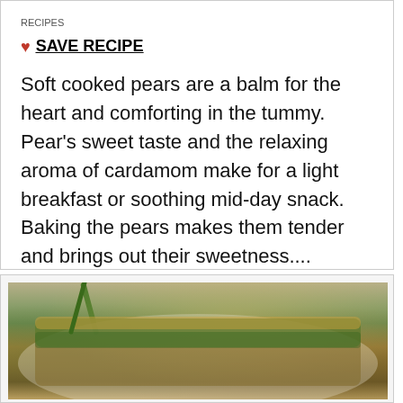RECIPES
❤ SAVE RECIPE
Soft cooked pears are a balm for the heart and comforting in the tummy. Pear's sweet taste and the relaxing aroma of cardamom make for a light breakfast or soothing mid-day snack. Baking the pears makes them tender and brings out their sweetness....
[Figure (photo): Food photo showing a baked dish with green vegetables and golden-brown crust on a white plate]